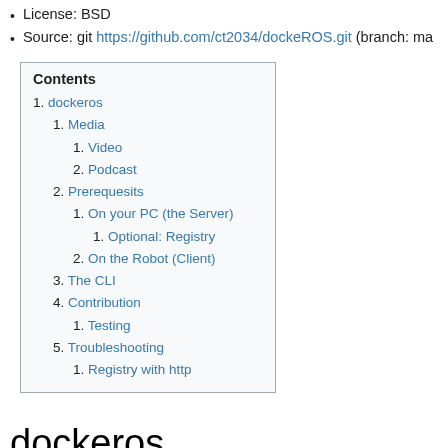License: BSD
Source: git https://github.com/ct2034/dockeROS.git (branch: ma
| 1. dockeros |
| 1. Media |
| 1. Video |
| 2. Podcast |
| 2. Prerequesits |
| 1. On your PC (the Server) |
| 1. Optional: Registry |
| 2. On the Robot (Client) |
| 3. The CLI |
| 4. Contribution |
| 1. Testing |
| 5. Troubleshooting |
| 1. Registry with http |
dockeros
Simply running ros nodes in docker containers on remote robots.
This is supposed to deliver tools to use the methods of edge computi fast and seamless deployment of software to edge devices (i.e. robots